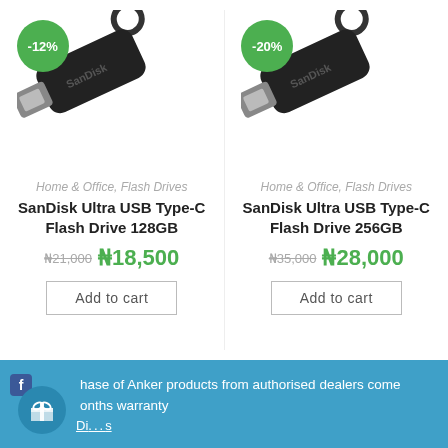[Figure (photo): SanDisk Ultra USB Type-C Flash Drive product image with -12% green discount badge]
[Figure (photo): SanDisk Ultra USB Type-C Flash Drive product image with -20% green discount badge]
Home & Office, Flash Drives
Home & Office, Flash Drives
SanDisk Ultra USB Type-C Flash Drive 128GB
SanDisk Ultra USB Type-C Flash Drive 256GB
₦21,000  ₦18,500
₦35,000  ₦28,000
Add to cart
Add to cart
hase of Anker products from authorised dealers come onths warranty
Di...s